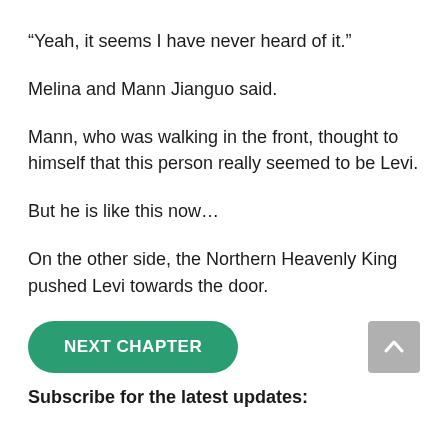“Yeah, it seems I have never heard of it.”
Melina and Mann Jianguo said.
Mann, who was walking in the front, thought to himself that this person really seemed to be Levi.
But he is like this now…
On the other side, the Northern Heavenly King pushed Levi towards the door.
NEXT CHAPTER
Subscribe for the latest updates: